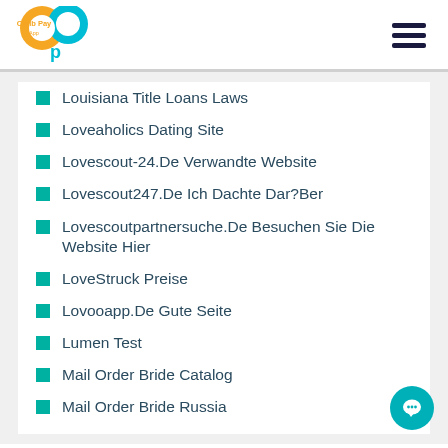Carib Pay App
Louisiana Title Loans Laws
Loveaholics Dating Site
Lovescout-24.De Verwandte Website
Lovescout247.De Ich Dachte Dar?Ber
Lovescoutpartnersuche.De Besuchen Sie Die Website Hier
LoveStruck Preise
Lovooapp.De Gute Seite
Lumen Test
Mail Order Bride Catalog
Mail Order Bride Russia